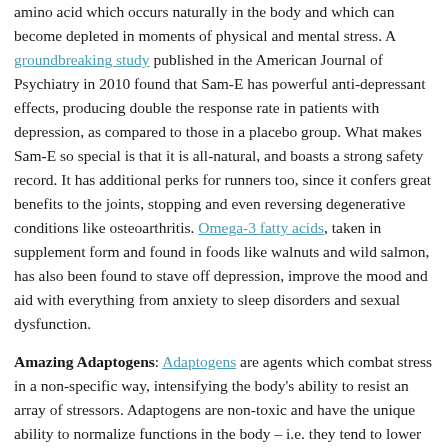amino acid which occurs naturally in the body and which can become depleted in moments of physical and mental stress. A groundbreaking study published in the American Journal of Psychiatry in 2010 found that Sam-E has powerful anti-depressant effects, producing double the response rate in patients with depression, as compared to those in a placebo group. What makes Sam-E so special is that it is all-natural, and boasts a strong safety record. It has additional perks for runners too, since it confers great benefits to the joints, stopping and even reversing degenerative conditions like osteoarthritis. Omega-3 fatty acids, taken in supplement form and found in foods like walnuts and wild salmon, has also been found to stave off depression, improve the mood and aid with everything from anxiety to sleep disorders and sexual dysfunction.
Amazing Adaptogens: Adaptogens are agents which combat stress in a non-specific way, intensifying the body's ability to resist an array of stressors. Adaptogens are non-toxic and have the unique ability to normalize functions in the body – i.e. they tend to lower blood pressure in those suffering from high blood pressure, and vice-versa, making them such a powerful ally, particularly for those who subject the body to tough physical